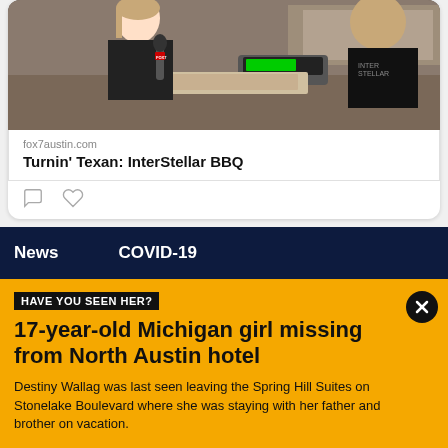[Figure (photo): TV news reporter holding a FOX 7 microphone interviewing a person in a BBQ restaurant kitchen setting]
fox7austin.com
Turnin' Texan: InterStellar BBQ
HAVE YOU SEEN HER?
17-year-old Michigan girl missing from North Austin hotel
Destiny Wallag was last seen leaving the Spring Hill Suites on Stonelake Boulevard where she was staying with her father and brother on vacation.